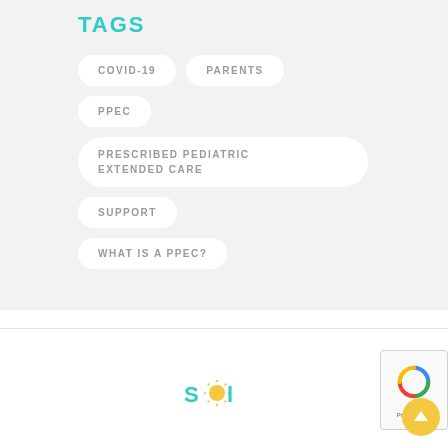TAGS
COVID-19
PARENTS
PPEC
PRESCRIBED PEDIATRIC EXTENDED CARE
SUPPORT
WHAT IS A PPEC?
[Figure (logo): Sol brand logo with teal/green lettering and a yellow sun icon replacing the letter O]